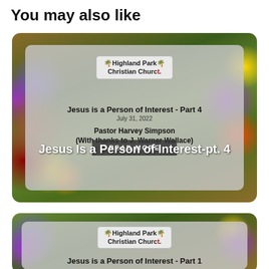You may also like
[Figure (illustration): Church sermon card for 'Jesus is a Person of Interest - Part 4', July 31, 2022, by Pastor Harvey Simpson (With thanks to J. Warner Wallace), Highland Park Christian Church logo, with READ MORE button overlay and page title 'Jesus Is a Person of Interest-pt. 4']
[Figure (illustration): Church sermon card (partial) for 'Jesus is a Person of Interest - Part 1', Highland Park Christian Church logo, on floral background]